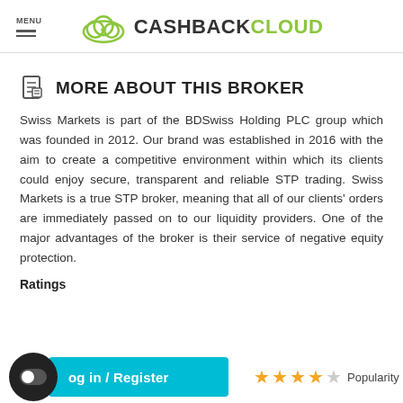MENU | CASHBACKCLOUD
MORE ABOUT THIS BROKER
Swiss Markets is part of the BDSwiss Holding PLC group which was founded in 2012. Our brand was established in 2016 with the aim to create a competitive environment within which its clients could enjoy secure, transparent and reliable STP trading. Swiss Markets is a true STP broker, meaning that all of our clients' orders are immediately passed on to our liquidity providers. One of the major advantages of the broker is their service of negative equity protection.
Ratings
Log in / Register   ★★★★☆ Popularity